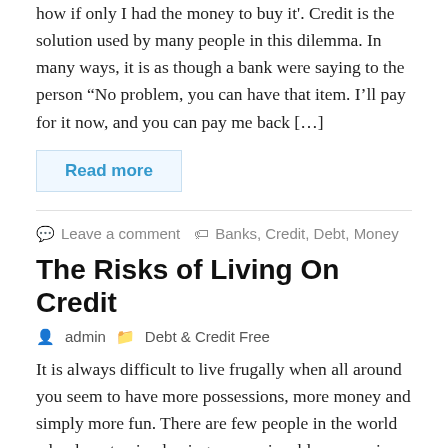how if only I had the money to buy it'. Credit is the solution used by many people in this dilemma. In many ways, it is as though a bank were saying to the person "No problem, you can have that item. I'll pay for it now, and you can pay me back […]
Read more
Leave a comment   Banks, Credit, Debt, Money
The Risks of Living On Credit
admin   Debt & Credit Free
It is always difficult to live frugally when all around you seem to have more possessions, more money and simply more fun. There are few people in the world who do not enjoy having new, enjoyable possessions which can make life easier, more varied and overall just more fun. The risk